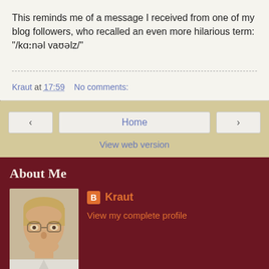This reminds me of a message I received from one of my blog followers, who recalled an even more hilarious term: "/kɑːnəl vaʊəlz/"
Kraut at 17:59   No comments:
< Home > View web version
About Me
Kraut
View my complete profile
Powered by Blogger.